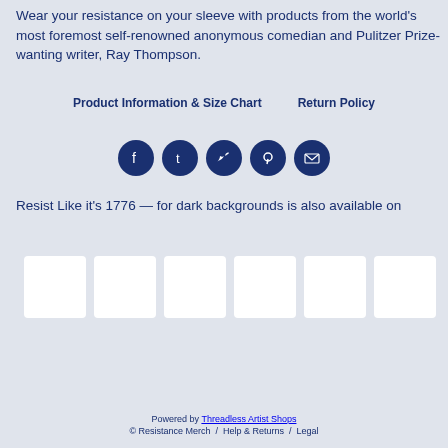Wear your resistance on your sleeve with products from the world's most foremost self-renowned anonymous comedian and Pulitzer Prize-wanting writer, Ray Thompson.
Product Information & Size Chart   Return Policy
[Figure (infographic): Row of 5 circular dark blue social media icon buttons: Facebook, Tumblr, Twitter, Pinterest, Email]
Resist Like it's 1776 — for dark backgrounds is also available on
[Figure (photo): Row of 6 white product thumbnail images showing merchandise]
Powered by Threadless Artist Shops
© Resistance Merch / Help & Returns / Legal